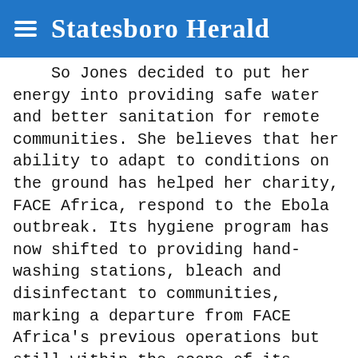Statesboro Herald
So Jones decided to put her energy into providing safe water and better sanitation for remote communities. She believes that her ability to adapt to conditions on the ground has helped her charity, FACE Africa, respond to the Ebola outbreak. Its hygiene program has now shifted to providing hand-washing stations, bleach and disinfectant to communities, marking a departure from FACE Africa's previous operations but still within the scope of its focus.
	“For us it hasn’t been that much of a challenge or a shift to respond to Ebola, because what we are doing is using our extensive local knowledge and deep-rooted community trust to build on the structures already in place,” Jones said by phone from Monrovia. “That’s the difference between